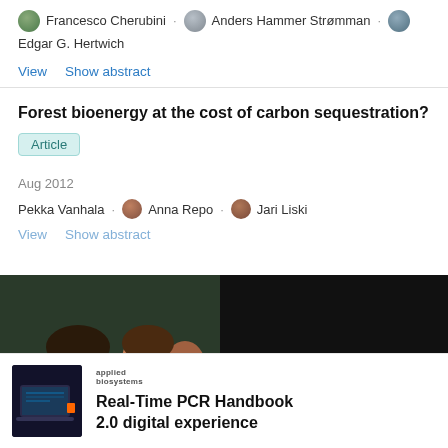Francesco Cherubini · Anders Hammer Strømman · Edgar G. Hertwich
View   Show abstract
Forest bioenergy at the cost of carbon sequestration?
Article
Aug 2012
Pekka Vanhala · Anna Repo · Jari Liski
View   Show abstract
[Figure (screenshot): Advertisement overlay showing scientists in a lab with ResearchGate hiring ad. Text reads 'Hire top scientific talent with ResearchGate' with a play button and close button.]
[Figure (screenshot): Bottom advertisement for Applied Biosystems Real-Time PCR Handbook 2.0 digital experience, showing a laptop image and the Applied Biosystems logo.]
Real-Time PCR Handbook 2.0 digital experience